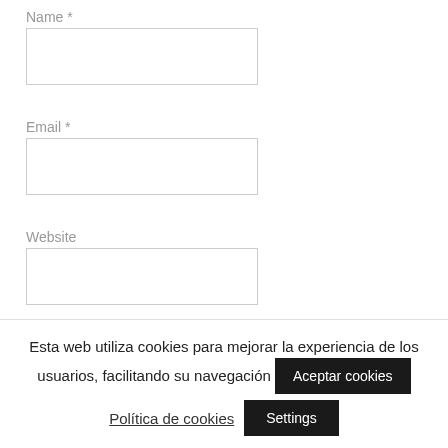Name *
Email *
Website
Esta web utiliza cookies para mejorar la experiencia de los usuarios, facilitando su navegación
Aceptar cookies
Política de cookies
Settings